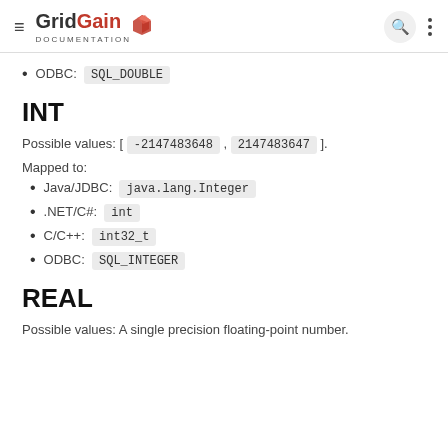GridGain DOCUMENTATION
ODBC: SQL_DOUBLE
INT
Possible values: [ -2147483648 , 2147483647 ].
Mapped to:
Java/JDBC: java.lang.Integer
.NET/C#: int
C/C++: int32_t
ODBC: SQL_INTEGER
REAL
Possible values: A single precision floating-point number.